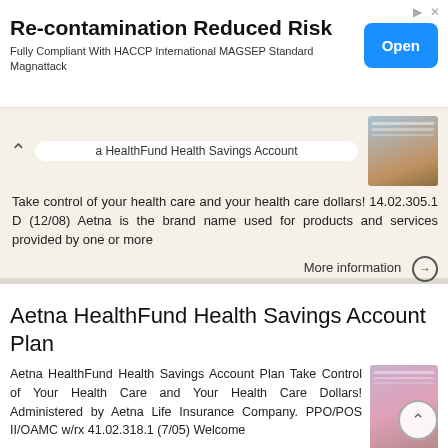[Figure (infographic): Advertisement banner: Re-contamination Reduced Risk. Fully Compliant With HACCP International MAGSEP Standard Magnattack. Blue 'Open' button on the right.]
a HealthFund Health Savings Account Take control of your health care and your health care dollars! 14.02.305.1 D (12/08) Aetna is the brand name used for products and services provided by one or more
More information →
Aetna HealthFund Health Savings Account Plan
Aetna HealthFund Health Savings Account Plan Take Control of Your Health Care and Your Health Care Dollars! Administered by Aetna Life Insurance Company. PPO/POS II/OAMC w/rx 41.02.318.1 (7/05) Welcome